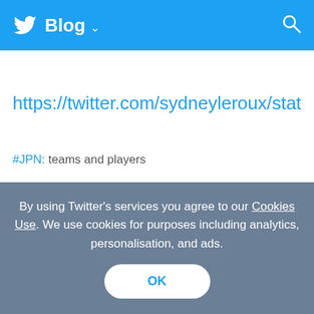Twitter Blog
https://twitter.com/sydneyleroux/statu
#JPN: teams and players
By using Twitter’s services you agree to our Cookies Use. We use cookies for purposes including analytics, personalisation, and ads.
OK